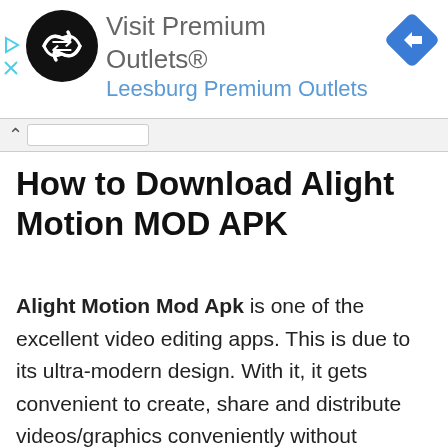[Figure (screenshot): Advertisement banner for Visit Premium Outlets® - Leesburg Premium Outlets, with a black circle logo with double-arrow icon and a blue diamond navigation icon on the right. Play and X icons on the far left.]
How to Download Alight Motion MOD APK
Alight Motion Mod Apk is one of the excellent video editing apps. This is due to its ultra-modern design. With it, it gets convenient to create, share and distribute videos/graphics conveniently without spending much time on configuration or other things. From viewing the video on your cell phone to saving it to your P.C., you can accomplish all these things in a few seconds without worrying about it.